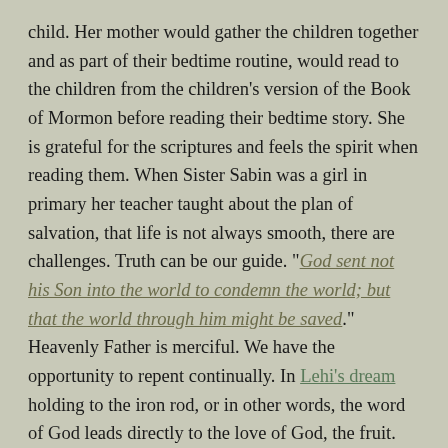child. Her mother would gather the children together and as part of their bedtime routine, would read to the children from the children's version of the Book of Mormon before reading their bedtime story. She is grateful for the scriptures and feels the spirit when reading them. When Sister Sabin was a girl in primary her teacher taught about the plan of salvation, that life is not always smooth, there are challenges. Truth can be our guide. "God sent not his Son into the world to condemn the world; but that the world through him might be saved." Heavenly Father is merciful. We have the opportunity to repent continually. In Lehi's dream holding to the iron rod, or in other words, the word of God leads directly to the love of God, the fruit. She related this fruit to baptism and the covenants we make then and in the temple. She observed that the people who stayed at the tree were those who fell